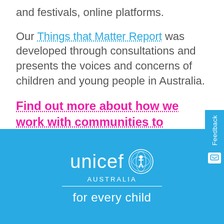and festivals, online platforms.
Our Things that Matter Report was developed through consultations and presents the voices and concerns of children and young people in Australia.
Find out more about how we work with communities to strengthen children's rights.
[Figure (logo): UNICEF Australia logo with globe emblem, 'unicef' wordmark, 'AUSTRALIA' text, horizontal divider, and tagline 'for every child' on a blue background]